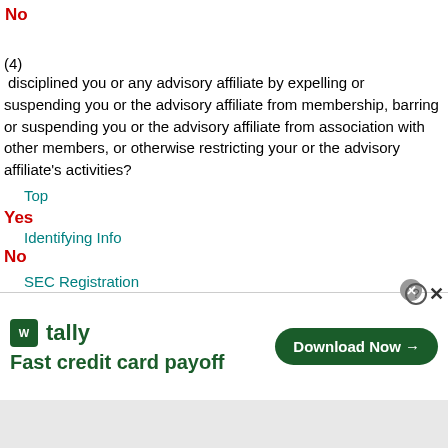No
(4)
disciplined you or any advisory affiliate by expelling or suspending you or the advisory affiliate from membership, barring or suspending you or the advisory affiliate from association with other members, or otherwise restricting your or the advisory affiliate's activities?
Top
Yes
Identifying Info
No
SEC Registration
F
Organization
Has an authorization to act as an attorney, accountant, or federal contractor granted to you or any advisory affiliate ever been revoked or
[Figure (other): Advertisement banner for Tally app: 'Fast credit card payoff' with Download Now button]